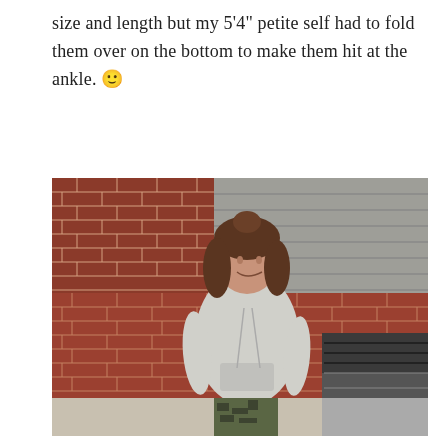size and length but my 5'4" petite self had to fold them over on the bottom to make them hit at the ankle. 🙂
[Figure (photo): A smiling young woman with long brown hair pulled up in a messy bun stands outdoors in front of a red brick wall. She is wearing a light grey hoodie sweatshirt and camouflage/olive green jogger pants. A dark grey car is visible to her right. Behind her is also a grey siding or shutter section above the brick wall.]